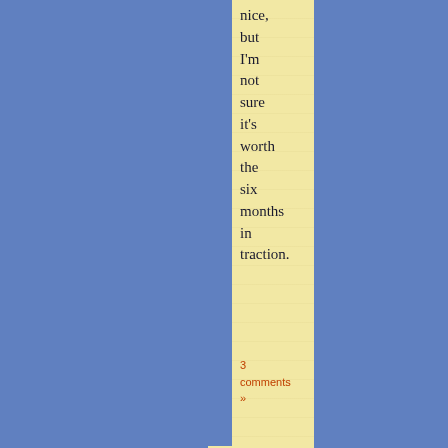nice, but I'm not sure it's worth the six months in traction.
3 comments »
SO RIGHT THEY'RE WRONG
Filed on May 9,